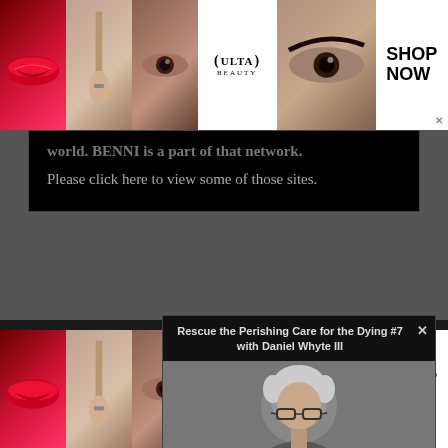[Figure (screenshot): Top Ulta Beauty advertisement banner with makeup images (lips, brush, eye, logo) and 'SHOP NOW' call to action]
world. BENNI is a part of that network.
Please click here to view some of those sites.
[Figure (screenshot): Section header area showing 'Gos' (Gospel) partial text on dark background]
[Figure (screenshot): Video popup overlay titled 'Rescue the Perishing Care for the Dying #7 with Daniel Whyte III' showing a man with glasses and gray hair]
[Figure (logo): Gospel Light Minutes logo in blue box]
[Figure (screenshot): Bottom Ulta Beauty advertisement banner with makeup images and 'SHOP NOW' call to action]